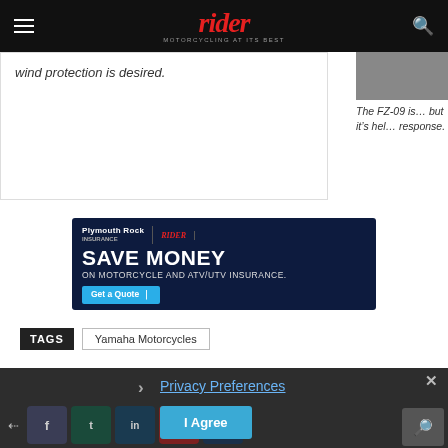rider — MOTORCYCLING AT ITS BEST
wind protection is desired.
The FZ-09 is... but it's hel... response.
[Figure (infographic): Plymouth Rock / Rider Insurance advertisement: SAVE MONEY ON MOTORCYCLE AND ATV/UTV INSURANCE. Get a Quote button.]
TAGS: Yamaha Motorcycles
Privacy Preferences
I Agree